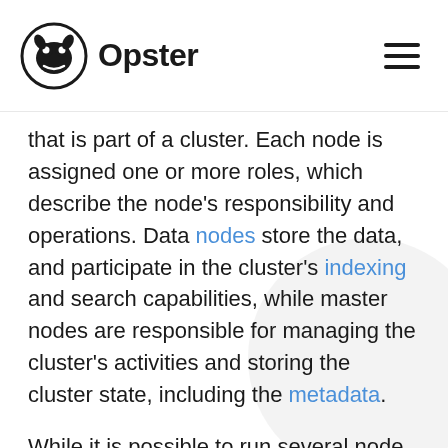Opster
that is part of a cluster. Each node is assigned one or more roles, which describe the node’s responsibility and operations. Data nodes store the data, and participate in the cluster’s indexing and search capabilities, while master nodes are responsible for managing the cluster’s activities and storing the cluster state, including the metadata.
While it is possible to run several node instances of Elasticsearch on the same